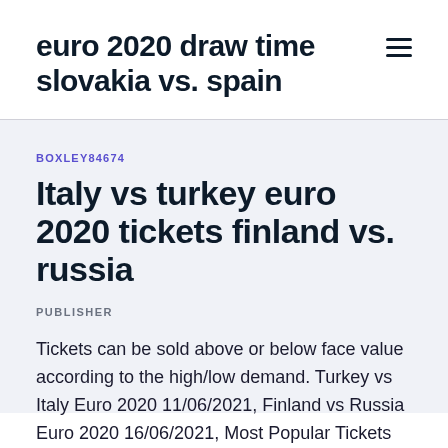euro 2020 draw time slovakia vs. spain
BOXLEY84674
Italy vs turkey euro 2020 tickets finland vs. russia
PUBLISHER
Tickets can be sold above or below face value according to the high/low demand. Turkey vs Italy Euro 2020 11/06/2021, Finland vs Russia Euro 2020 16/06/2021, Most Popular Tickets